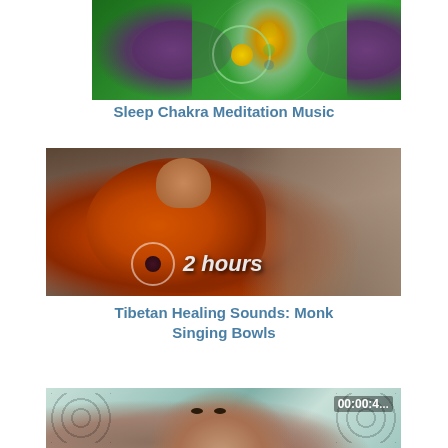[Figure (photo): Thumbnail image of chakra meditation artwork showing colorful figure with wings on green background]
Sleep Chakra Meditation Music
[Figure (photo): Thumbnail image of a Buddhist monk in orange robes sitting meditating near stone pillars with '2 hours' text overlay]
Tibetan Healing Sounds: Monk Singing Bowls
[Figure (photo): Partial thumbnail image showing a man's face with decorative teal/floral background and timer 00:00:4 in upper right]